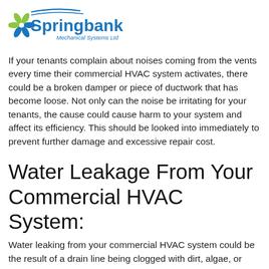[Figure (logo): Springbank Mechanical Systems Ltd logo with blue text and green/blue fan icon]
If your tenants complain about noises coming from the vents every time their commercial HVAC system activates, there could be a broken damper or piece of ductwork that has become loose. Not only can the noise be irritating for your tenants, the cause could cause harm to your system and affect its efficiency. This should be looked into immediately to prevent further damage and excessive repair cost.
Water Leakage From Your Commercial HVAC System:
Water leaking from your commercial HVAC system could be the result of a drain line being clogged with dirt, algae, or